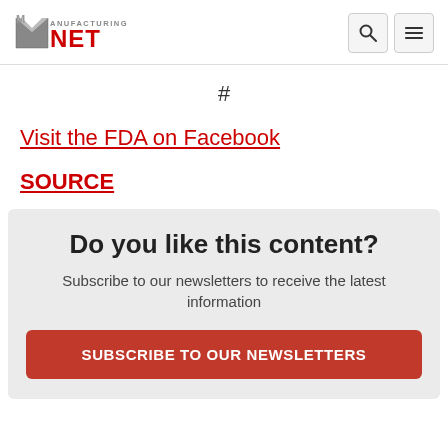Manufacturing.net
#
Visit the FDA on Facebook
SOURCE
Do you like this content? Subscribe to our newsletters to receive the latest information
SUBSCRIBE TO OUR NEWSLETTERS